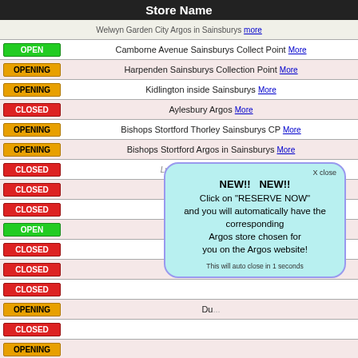Store Name
Welwyn Garden City Argos in Sainsburys more
OPEN Camborne Avenue Sainsburys Collect Point More
OPENING Harpenden Sainsburys Collection Point More
OPENING Kidlington inside Sainsburys More
CLOSED Aylesbury Argos More
OPENING Bishops Stortford Thorley Sainsburys CP More
OPENING Bishops Stortford Argos in Sainsburys More
CLOSED Luton Gipsy Lane Argos More
CLOSED
CLOSED
OPEN Colchester...
CLOSED
CLOSED
CLOSED
OPENING Du...
CLOSED
OPENING
CLOSED Leighton Buzzard and EE Store More
OPENING Bramingham Park Argos in Sainsburys More
OPENING Coreys Mill Argos in Sainsburys More
OPENING Halstead Sainsburys Collection Point More
CLOSED Hitchin Argos Closing Soon More
[Figure (screenshot): Popup dialog box with light blue/cyan background and purple border showing: X close button, NEW!! NEW!! Click on RESERVE NOW and you will automatically have the corresponding Argos store chosen for you on the Argos website! This will auto close in 1 seconds]